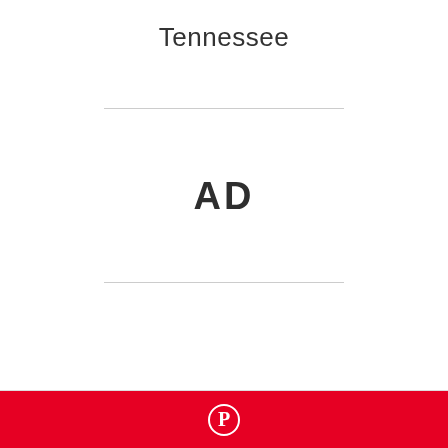Tennessee
[Figure (other): Advertisement placeholder block with horizontal divider lines above and below, and text 'AD' centered in the middle]
[Figure (logo): Pinterest red bar at the bottom with Pinterest circular P logo icon in white]